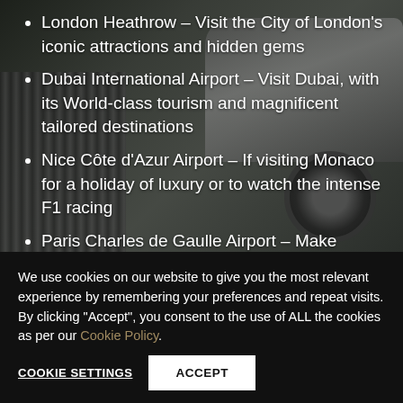[Figure (photo): Dark background with a luxury car (Rolls-Royce style) showing grille and wheel details]
London Heathrow – Visit the City of London's iconic attractions and hidden gems
Dubai International Airport – Visit Dubai, with its World-class tourism and magnificent tailored destinations
Nice Côte d'Azur Airport – If visiting Monaco for a holiday of luxury or to watch the intense F1 racing
Paris Charles de Gaulle Airport – Make
We use cookies on our website to give you the most relevant experience by remembering your preferences and repeat visits. By clicking "Accept", you consent to the use of ALL the cookies as per our Cookie Policy.
COOKIE SETTINGS   ACCEPT